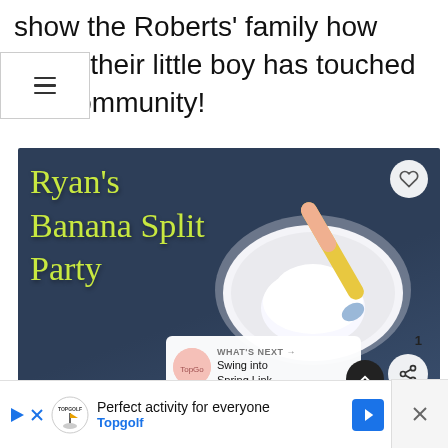show the Roberts’ family how much their little boy has touched our community!
[Figure (photo): Photo showing a white plate/bowl with a spoon on a dark blue-slate background. Text on the photo reads 'Ryan’s Banana Split Party' in yellow-green handwritten style. UI elements include a heart button, share button, and a 'What’s Next' panel showing 'Swing into Spring Link...']
Perfect activity for everyone Topgolf